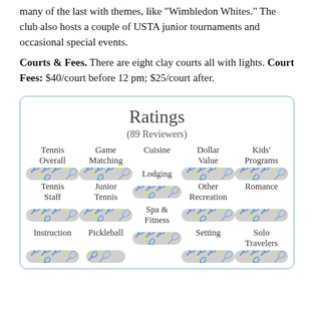many of the last with themes, like "Wimbledon Whites." The club also hosts a couple of USTA junior tournaments and occasional special events.
Courts & Fees. There are eight clay courts all with lights. Court Fees: $40/court before 12 pm; $25/court after.
[Figure (infographic): Ratings box showing (89 Reviewers) with tennis ball rating bars for: Tennis Overall, Game Matching, Cuisine, Dollar Value, Kids' Programs, Lodging, Tennis Staff, Junior Tennis, Other Recreation, Romance, Spa & Fitness, Instruction, Pickleball, Setting, Solo Travelers]